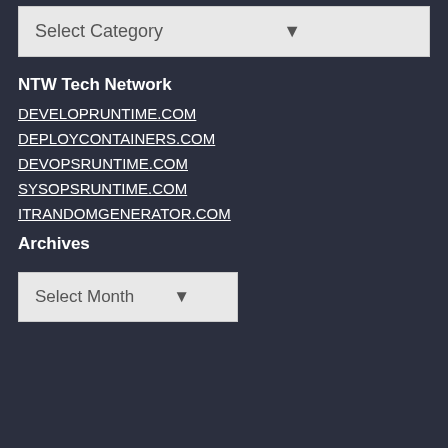[Figure (screenshot): Dropdown select box labeled 'Select Category' with a down arrow, on a light gray background]
NTW Tech Network
DEVELOPRUNTIME.COM
DEPLOYCONTAINERS.COM
DEVOPSRUNTIME.COM
SYSOPSRUNTIME.COM
ITRANDOMGENERATOR.COM
Archives
[Figure (screenshot): Dropdown select box labeled 'Select Month' with a down arrow, on a light gray background]